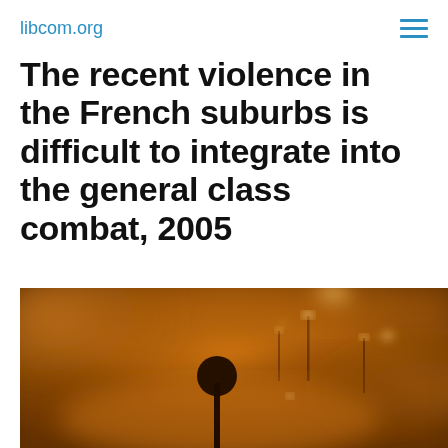libcom.org
The recent violence in the French suburbs is difficult to integrate into the general class combat, 2005
[Figure (photo): Night photo of a smoke-filled street with orange/amber glow from fires, street lights visible through haze, a circular road sign silhouetted in the foreground, suggesting urban unrest or riots in French suburbs]